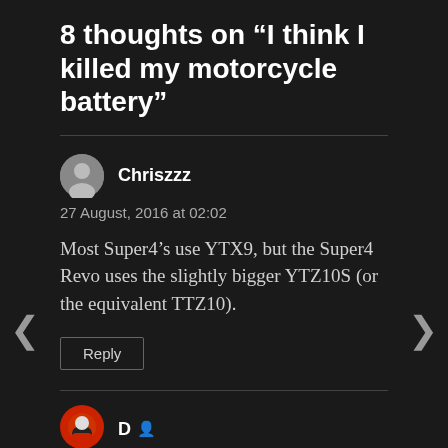8 thoughts on “I think I killed my motorcycle battery”
Chriszzz
27 August, 2016 at 02:02

Most Super4’s use YTX9, but the Super4 Revo uses the slightly bigger YTZ10S (or the equivalent TTZ10).
Reply
D
27 August, 2016 at 06:11